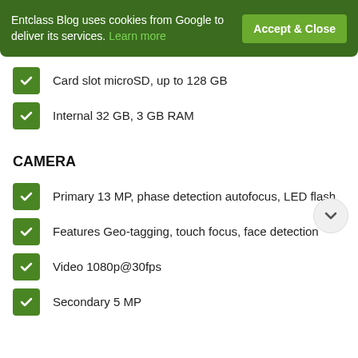Entclass Blog uses cookies from Google to deliver its services. Learn more
Card slot microSD, up to 128 GB
Internal 32 GB, 3 GB RAM
CAMERA
Primary 13 MP, phase detection autofocus, LED flash
Features Geo-tagging, touch focus, face detection
Video 1080p@30fps
Secondary 5 MP